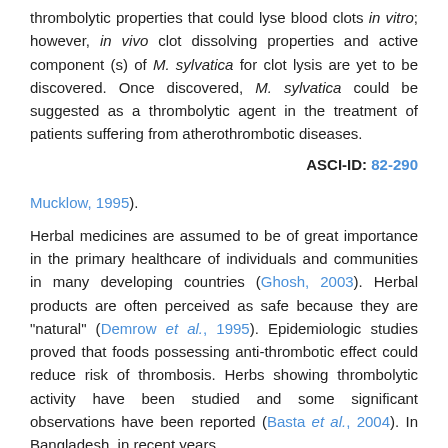thrombolytic properties that could lyse blood clots in vitro; however, in vivo clot dissolving properties and active component (s) of M. sylvatica for clot lysis are yet to be discovered. Once discovered, M. sylvatica could be suggested as a thrombolytic agent in the treatment of patients suffering from atherothrombotic diseases.
ASCI-ID: 82-290
Mucklow, 1995).
Herbal medicines are assumed to be of great importance in the primary healthcare of individuals and communities in many developing countries (Ghosh, 2003). Herbal products are often perceived as safe because they are "natural" (Demrow et al., 1995). Epidemiologic studies proved that foods possessing anti-thrombotic effect could reduce risk of thrombosis. Herbs showing thrombolytic activity have been studied and some significant observations have been reported (Basta et al., 2004). In Bangladesh, in recent years,